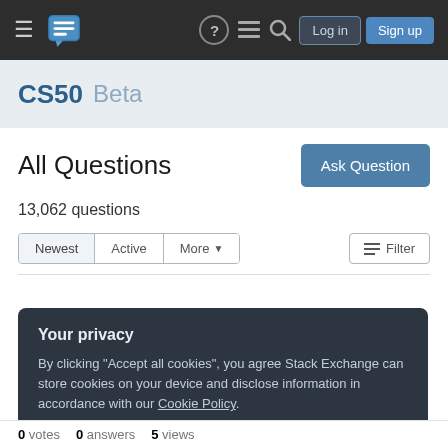CS50 Beta — Stack Exchange Q&A site navigation with Log in and Sign up buttons
CS50 Beta
All Questions
13,062 questions
Newest | Active | More ▼    Filter
Your privacy
By clicking "Accept all cookies", you agree Stack Exchange can store cookies on your device and disclose information in accordance with our Cookie Policy.
Accept all cookies   Customize settings
0 votes  0 answers  5 views